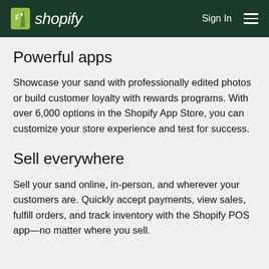shopify   Sign In
Powerful apps
Showcase your sand with professionally edited photos or build customer loyalty with rewards programs. With over 6,000 options in the Shopify App Store, you can customize your store experience and test for success.
Sell everywhere
Sell your sand online, in-person, and wherever your customers are. Quickly accept payments, view sales, fulfill orders, and track inventory with the Shopify POS app—no matter where you sell.